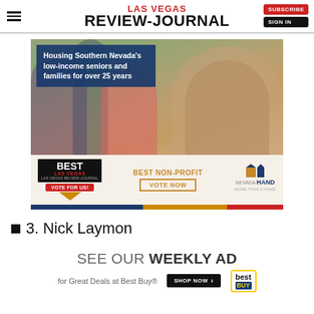LAS VEGAS REVIEW-JOURNAL | SUBSCRIBE | SIGN IN
[Figure (photo): Nevada Hand advertisement. Shows a woman in a floral shirt and mask helping a young girl at an outdoor table with plants. Text overlay reads: Housing Southern Nevada's low-income seniors and families for over 25 years. Bottom section shows Best Las Vegas award badge with Vote For Us ribbon, Best Non-Profit text, Vote Now button, and Nevada Hand logo.]
3. Nick Laymon
[Figure (infographic): Best Buy advertisement: SEE OUR WEEKLY AD for Great Deals at Best Buy® with SHOP NOW button and Best Buy logo.]